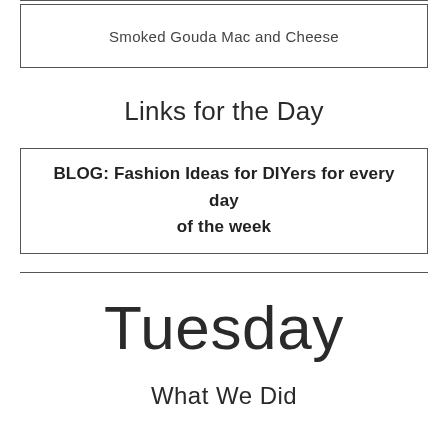Smoked Gouda Mac and Cheese
Links for the Day
BLOG: Fashion Ideas for DIYers for every day of the week
Tuesday
What We Did